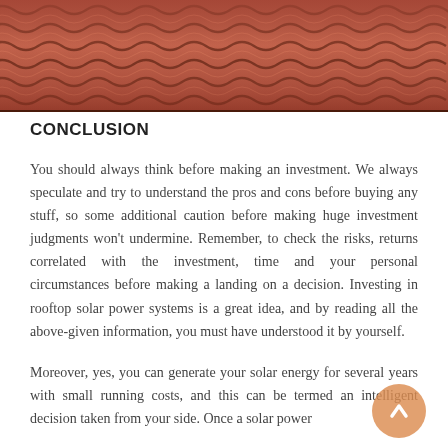[Figure (photo): Close-up photograph of terracotta/clay wavy roof tiles in reddish-brown color, viewed from a low angle showing the repeating wave pattern.]
CONCLUSION
You should always think before making an investment. We always speculate and try to understand the pros and cons before buying any stuff, so some additional caution before making huge investment judgments won't undermine. Remember, to check the risks, returns correlated with the investment, time and your personal circumstances before making a landing on a decision. Investing in rooftop solar power systems is a great idea, and by reading all the above-given information, you must have understood it by yourself.
Moreover, yes, you can generate your solar energy for several years with small running costs, and this can be termed an intelligent decision taken from your side. Once a solar power